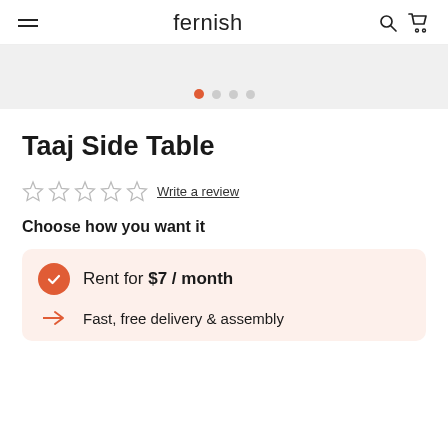fernish
[Figure (screenshot): Carousel navigation dots with first dot active (orange), three inactive dots following]
Taaj Side Table
☆☆☆☆☆ Write a review
Choose how you want it
Rent for $7 / month
Fast, free delivery & assembly